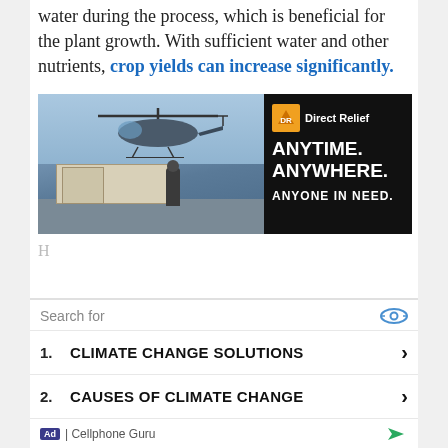water during the process, which is beneficial for the plant growth. With sufficient water and other nutrients, crop yields can increase significantly.
[Figure (photo): Left: Photo of military helicopter with cargo boxes being unloaded on a tarmac. Right: Black advertisement panel for DirectRelief with text 'ANYTIME. ANYWHERE. ANYONE IN NEED.']
H... [blurred/obscured text]
Search for
1. CLIMATE CHANGE SOLUTIONS
2. CAUSES OF CLIMATE CHANGE
Ad | Cellphone Guru